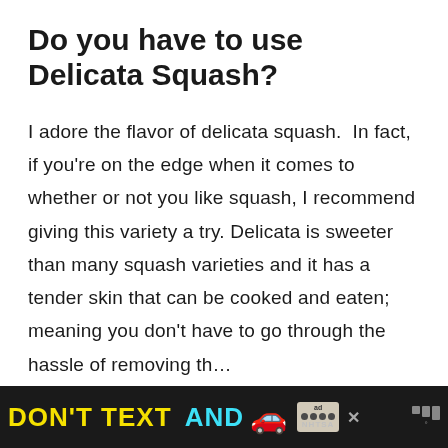Do you have to use Delicata Squash?
I adore the flavor of delicata squash.  In fact, if you're on the edge when it comes to whether or not you like squash, I recommend giving this variety a try. Delicata is sweeter than many squash varieties and it has a tender skin that can be cooked and eaten; meaning you don't have to go through the hassle of removing the skin (cont.)
[Figure (infographic): Black banner advertisement: 'DON'T TEXT AND [car emoji]' with NHTSA branding and ad badge]